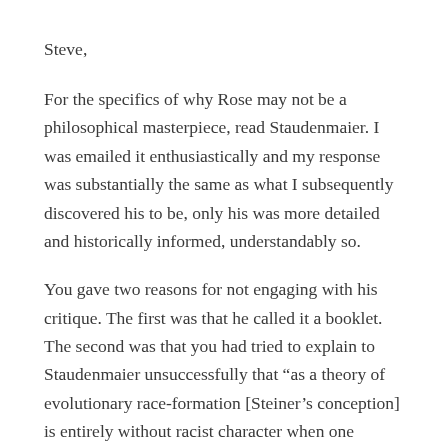Steve,
For the specifics of why Rose may not be a philosophical masterpiece, read Staudenmaier. I was emailed it enthusiastically and my response was substantially the same as what I subsequently discovered his to be, only his was more detailed and historically informed, understandably so.
You gave two reasons for not engaging with his critique. The first was that he called it a booklet. The second was that you had tried to explain to Staudenmaier unsuccessfully that “as a theory of evolutionary race-formation [Steiner’s conception] is entirely without racist character when one understands its full